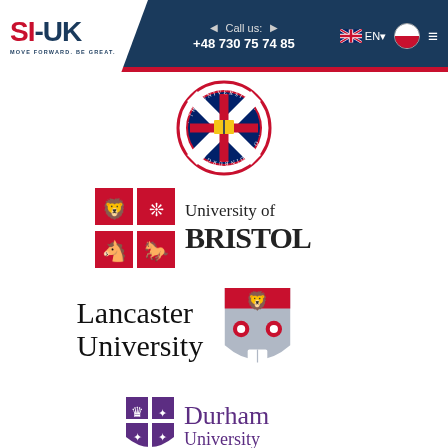SI-UK | MOVE FORWARD. BE GREAT. | Call us: +48 730 75 74 85 | EN
[Figure (logo): The University of Edinburgh circular crest logo]
[Figure (logo): University of Bristol logo with red heraldic shield]
[Figure (logo): Lancaster University logo with red shield]
[Figure (logo): Durham University logo with purple shield]